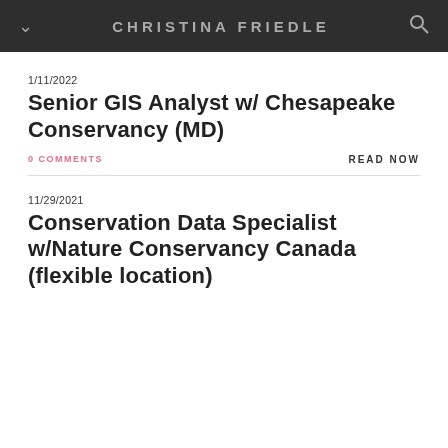CHRISTINA FRIEDLE
1/11/2022
Senior GIS Analyst w/ Chesapeake Conservancy (MD)
0 COMMENTS
READ NOW
11/29/2021
Conservation Data Specialist w/Nature Conservancy Canada (flexible location)